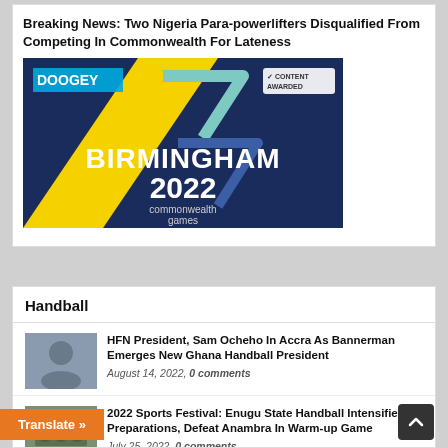Breaking News: Two Nigeria Para-powerlifters Disqualified From Competing In Commonwealth For Lateness
[Figure (photo): Birmingham 2022 Commonwealth Games logo on dark blue background with geometric shapes in yellow, cyan and blue. DOOGEY branding visible top left. 'CONTENT AWARDED' badge top right.]
Handball
[Figure (photo): Thumbnail photo of HFN President Sam Ocheho]
HFN President, Sam Ocheho In Accra As Bannerman Emerges New Ghana Handball President
August 14, 2022, 0 comments
[Figure (photo): Thumbnail photo related to 2022 Sports Festival handball]
2022 Sports Festival: Enugu State Handball Intensifies Preparations, Defeat Anambra In Warm-up Game
July 25, 2022, 0 comments
...alutes Asisat Oshoala On Historic 5th Africa...er Of The Year Award